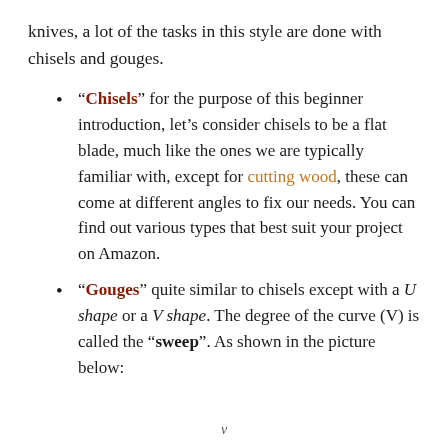knives, a lot of the tasks in this style are done with chisels and gouges.
"Chisels" for the purpose of this beginner introduction, let’s consider chisels to be a flat blade, much like the ones we are typically familiar with, except for cutting wood, these can come at different angles to fix our needs. You can find out various types that best suit your project on Amazon.
"Gouges" quite similar to chisels except with a U shape or a V shape. The degree of the curve (V) is called the “sweep”. As shown in the picture below:
v